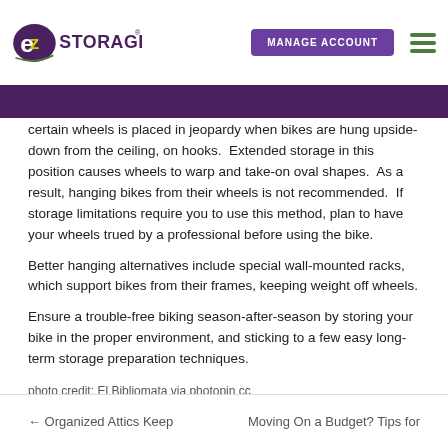EZ Storage — MANAGE ACCOUNT
certain wheels is placed in jeopardy when bikes are hung upside-down from the ceiling, on hooks.  Extended storage in this position causes wheels to warp and take-on oval shapes.  As a result, hanging bikes from their wheels is not recommended.  If storage limitations require you to use this method, plan to have your wheels trued by a professional before using the bike.
Better hanging alternatives include special wall-mounted racks, which support bikes from their frames, keeping weight off wheels.
Ensure a trouble-free biking season-after-season by storing your bike in the proper environment, and sticking to a few easy long-term storage preparation techniques.
photo credit: El Bibliomata via photopin cc
← Organized Attics Keep     Moving On a Budget? Tips for